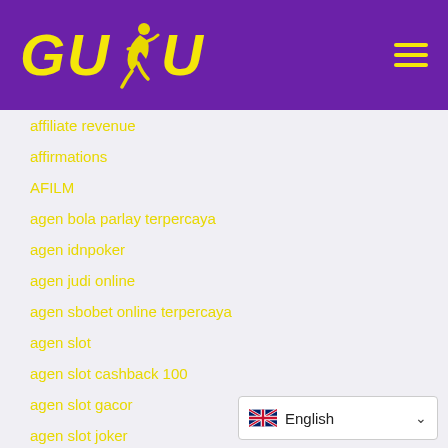[Figure (logo): GUDU logo with running figure in yellow on purple background, with hamburger menu icon on the right]
affiliate revenue
affirmations
AFILM
agen bola parlay terpercaya
agen idnpoker
agen judi online
agen sbobet online terpercaya
agen slot
agen slot cashback 100
agen slot gacor
agen slot joker
agen slot joker123
English